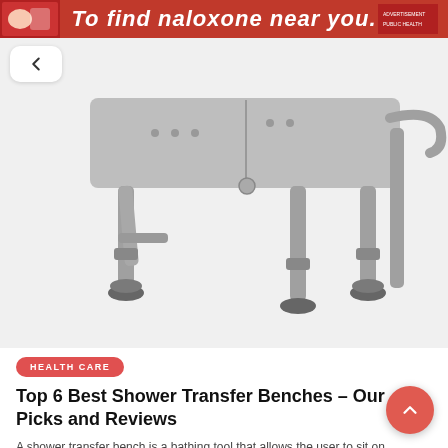[Figure (photo): Red advertisement banner at top with white italic bold text 'To find naloxone near you.' with a logo on the right and a product image thumbnail on the left]
[Figure (photo): A gray metal shower transfer bench with adjustable legs and rubber feet, photographed on a white background]
HEALTH CARE
Top 6 Best Shower Transfer Benches – Our Picks and Reviews
A shower transfer bench is a bathing tool that allows the user to sit on …